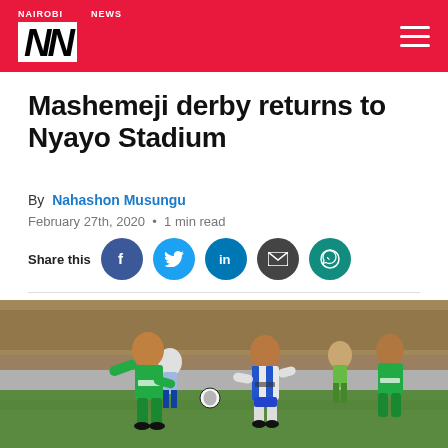Nairobi News
Mashemeji derby returns to Nyayo Stadium
By Nahashon Musungu
February 27th, 2020 · 1 min read
Share this
[Figure (photo): Football players in a Mashemeji derby match — players in green (Gor Mahia) and blue/white (AFC Leopards) jerseys, wearing SportPesa sponsorship, competing for the ball on a pitch.]